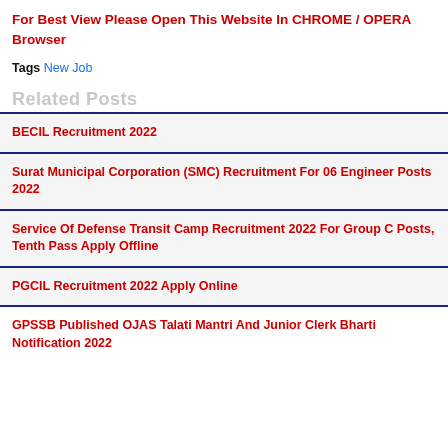For Best View Please Open This Website In CHROME / OPERA Browser
Tags New Job
Related Posts
BECIL Recruitment 2022
Surat Municipal Corporation (SMC) Recruitment For 06 Engineer Posts 2022
Service Of Defense Transit Camp Recruitment 2022 For Group C Posts, Tenth Pass Apply Offline
PGCIL Recruitment 2022 Apply Online
GPSSB Published OJAS Talati Mantri And Junior Clerk Bharti Notification 2022